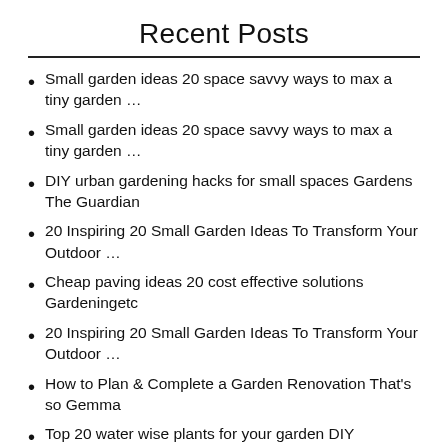Recent Posts
Small garden ideas 20 space savvy ways to max a tiny garden …
Small garden ideas 20 space savvy ways to max a tiny garden …
DIY urban gardening hacks for small spaces Gardens The Guardian
20 Inspiring 20 Small Garden Ideas To Transform Your Outdoor …
Cheap paving ideas 20 cost effective solutions Gardeningetc
20 Inspiring 20 Small Garden Ideas To Transform Your Outdoor …
How to Plan & Complete a Garden Renovation That's so Gemma
Top 20 water wise plants for your garden DIY Grounded Landscaping